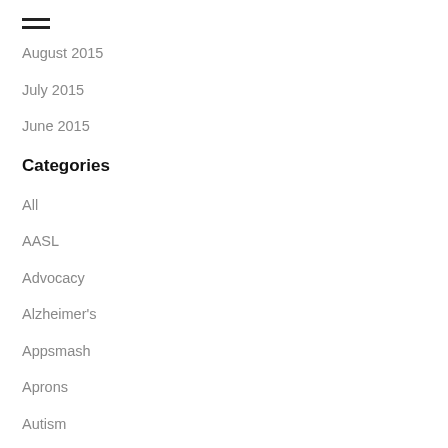August 2015
July 2015
June 2015
Categories
All
AASL
Advocacy
Alzheimer's
Appsmash
Aprons
Autism
Awards
Bitsbox
Bloxels
Book Fairs
Books
Book Tasting
Book-Tasting